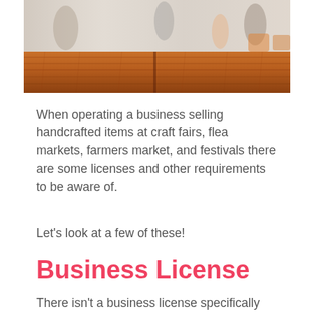[Figure (photo): A blurred outdoor market scene with people walking among stalls, and a close-up of a wooden table surface in the foreground.]
When operating a business selling handcrafted items at craft fairs, flea markets, farmers market, and festivals there are some licenses and other requirements to be aware of.
Let's look at a few of these!
Business License
There isn't a business license specifically